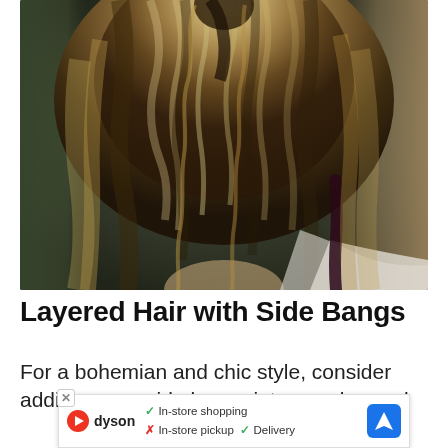[Figure (photo): Back view of a woman with medium-length wavy layered hair with blonde highlights, wearing a white top with a dark shoulder strap visible]
Layered Hair with Side Bangs
For a bohemian and chic style, consider adding some side bangs into your layered ha[ir]...
[Figure (other): Advertisement banner for Dyson showing: checkmark In-store shopping, X In-store pickup, checkmark Delivery, with Dyson logo and navigation icon]